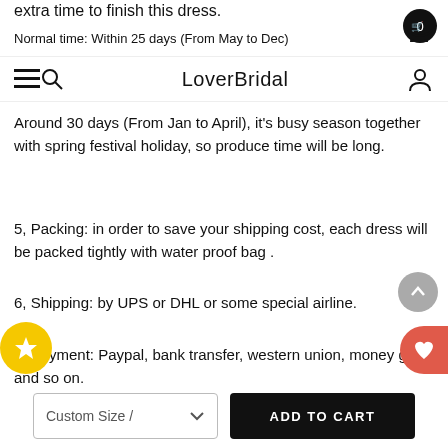extra time to finish this dress.
LoverBridal
Normal time: Within 25 days (From May to Dec)
Around 30 days (From Jan to April), it's busy season together with spring festival holiday, so produce time will be long.
5, Packing: in order to save your shipping cost, each dress will be packed tightly with water proof bag .
6, Shipping: by UPS or DHL or some special airline.
7, Payment: Paypal, bank transfer, western union, money gram and so on.
Custom Size /  ADD TO CART